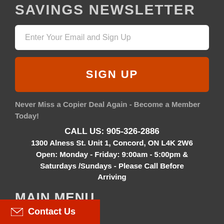SAVINGS NEWSLETTER
Enter Your Email and Sign Up
SIGN UP
Never Miss a Copier Deal Again - Become a Member Today!
CALL US: 905-326-2886
1300 Alness St. Unit 1, Concord, ON L4K 2W6
Open: Monday - Friday: 9:00am - 5:00pm & Saturdays /Sundays - Please Call Before Arriving
MAIN MENU
Home
Contact Us